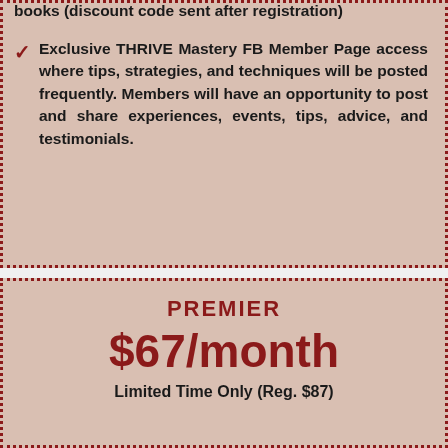books (discount code sent after registration)
Exclusive THRIVE Mastery FB Member Page access where tips, strategies, and techniques will be posted frequently. Members will have an opportunity to post and share experiences, events, tips, advice, and testimonials.
SIGN UP
PREMIER
$67/month
Limited Time Only (Reg. $87)